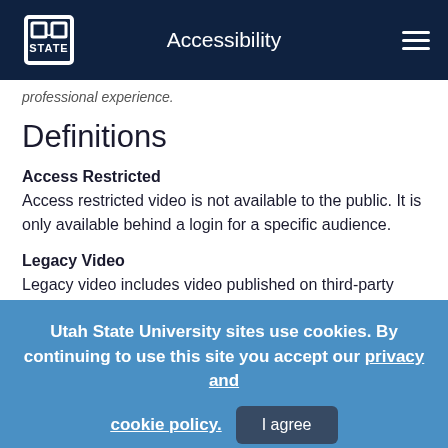Accessibility
professional experience.
Definitions
Access Restricted
Access restricted video is not available to the public. It is only available behind a login for a specific audience.
Legacy Video
Legacy video includes video published on third-party
Utah State University sites use cookies. By continuing to use this site you accept our privacy and cookie policy. I agree